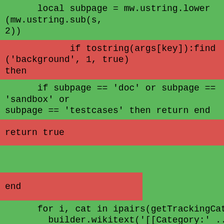local subpage = mw.ustring.lower(mw.ustring.sub(s, 2))
if tostring(args[key]):find('background', 1, true) then
if subpage == 'doc' or subpage == 'sandbox' or subpage == 'testcases' then return end
return true
end
for i, cat in ipairs(getTrackingCategories()) do
builder.wikitext('[[Category:' .. cat .. ']]')
Ранко Николић
271
РЕДАКЦИИ